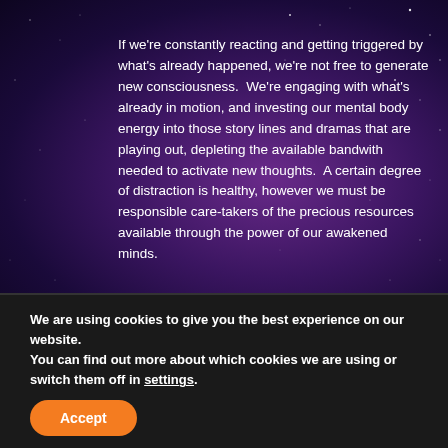[Figure (illustration): Dark purple starry night sky background with radial gradient from purple center to deep dark edges]
If we're constantly reacting and getting triggered by what's already happened, we're not free to generate new consciousness.  We're engaging with what's already in motion, and investing our mental body energy into those story lines and dramas that are playing out, depleting the available bandwith needed to activate new thoughts.  A certain degree of distraction is healthy, however we must be responsible care-takers of the precious resources available through the power of our awakened minds.
We are using cookies to give you the best experience on our website.
You can find out more about which cookies we are using or switch them off in settings.
Accept